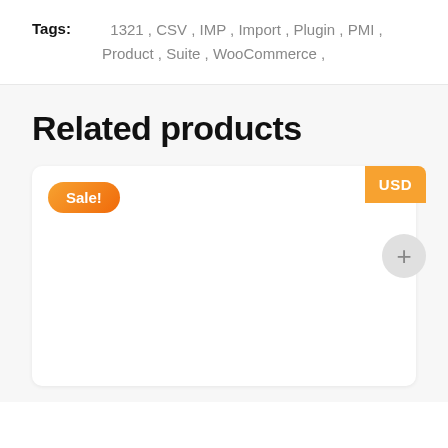Tags: 1321 , CSV , IMP , Import , Plugin , PMI , Product , Suite , WooCommerce ,
Related products
[Figure (other): Product card with orange 'Sale!' badge, orange 'USD' button in top-right corner, and a grey circular plus button below the USD button.]